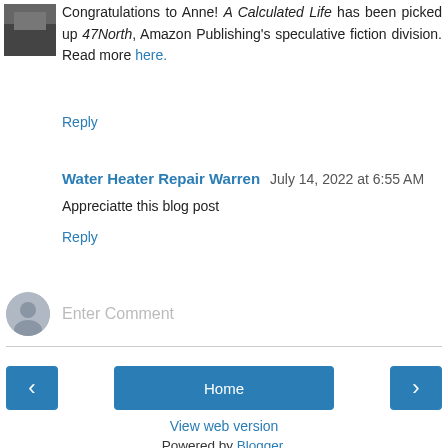Congratulations to Anne! A Calculated Life has been picked up 47North, Amazon Publishing's speculative fiction division. Read more here.
Reply
Water Heater Repair Warren July 14, 2022 at 6:55 AM
Appreciatte this blog post
Reply
Enter Comment
Home
View web version
Powered by Blogger.